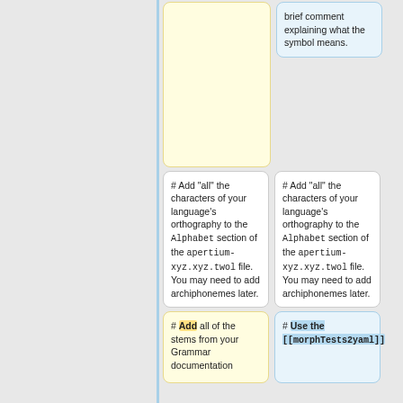brief comment explaining what the symbol means.
# Add "all" the characters of your language's orthography to the <code>Alphabet</code> section of the <code>apertium-xyz.xyz.twol</code> file.  You may need to add archiphonemes later.
# Add "all" the characters of your language's orthography to the <code>Alphabet</code> section of the <code>apertium-xyz.xyz.twol</code> file.  You may need to add archiphonemes later.
# Add all of the stems from your Grammar documentation
# Use the <code>[[morphTests2yaml]]</code>